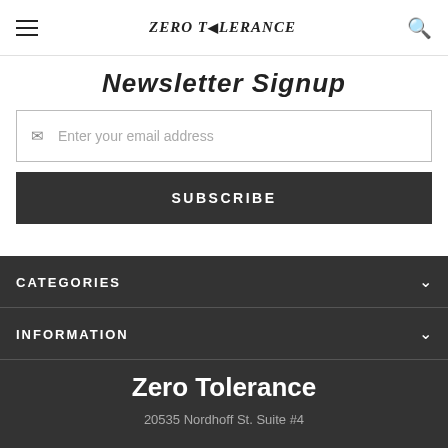Zero Tolerance
Newsletter Signup
Enter your email address
SUBSCRIBE
CATEGORIES
INFORMATION
Zero Tolerance
20535 Nordhoff St. Suite #4